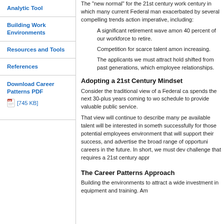Analytic Tool
Building Work Environments
Resources and Tools
References
Download Career Patterns PDF [745 KB]
The "new normal" for the 21st century workforce is a century in which many current Federal managers will retire, exacerbated by several compelling trends that create an action imperative, including:
A significant retirement wave among... 40 percent of our workforce to retire...
Competition for scarce talent among... increasing.
The applicants we must attract hold... shifted from past generations, which... employee relationships.
Adopting a 21st Century Mindset
Consider the traditional view of a Federal career... spends the next 30-plus years coming to work on a schedule to provide valuable public service...
That view will continue to describe many people... available talent will be interested in something different. To recruit successfully for those potential employees, we must create an environment that will support their success, and we must identify and advertise the broad range of opportunities for fulfilling careers in the future. In short, we must develop a new approach to a challenge that requires a 21st century approach.
The Career Patterns Approach
Building the environments to attract a wider... investment in equipment and training. Am...